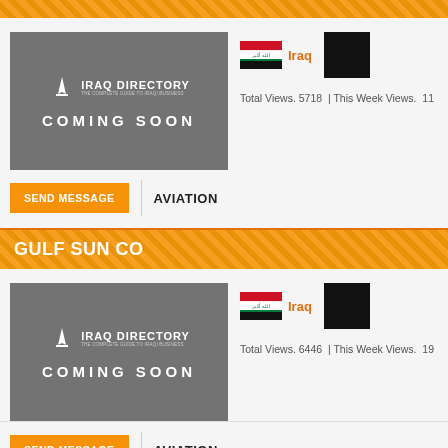[Figure (logo): Iraq Directory Coming Soon logo on grey background]
Iraq
Total Views. 5718  |  This Week Views.  11
SEND MESSAGE
AVIATION
GULF SUN CO
[Figure (logo): Iraq Directory Coming Soon logo on grey background]
Iraq
Total Views. 6446  |  This Week Views.  19
SEND MESSAGE
AVIATION